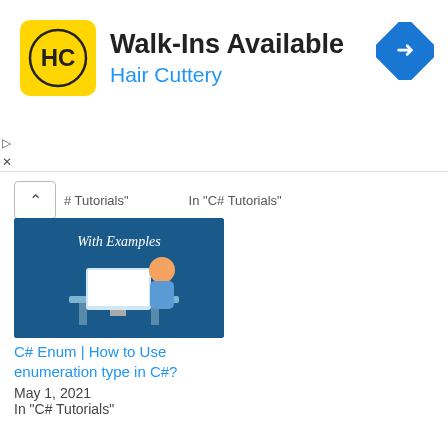[Figure (illustration): Hair Cuttery advertisement banner with logo (HC in yellow circle), text 'Walk-Ins Available' and 'Hair Cuttery', and a blue diamond direction arrow icon on the right]
# Tutorials"    In "C# Tutorials"
[Figure (illustration): Blue tutorial image showing a person at a computer desk with text 'With Examples']
C# Enum | How to Use enumeration type in C#?
May 1, 2021
In "C# Tutorials"
C# Tutorials
< Comments in C#: Single Line, Multiline and XML Comments
> C# Hashtable vs Dictionary: When should you use